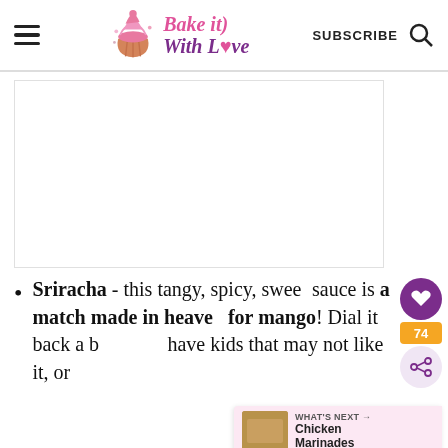Bake it With Love | SUBSCRIBE
[Figure (other): White/blank image placeholder area below the header]
Sriracha - this tangy, spicy, sweet sauce is a match made in heaven for mango! Dial it back a bit if you have kids that may not like it, or
[Figure (infographic): Floating UI elements: heart save button (purple circle), share count badge showing 74, share icon button, and a 'What's Next: Chicken Marinades' panel with thumbnail]